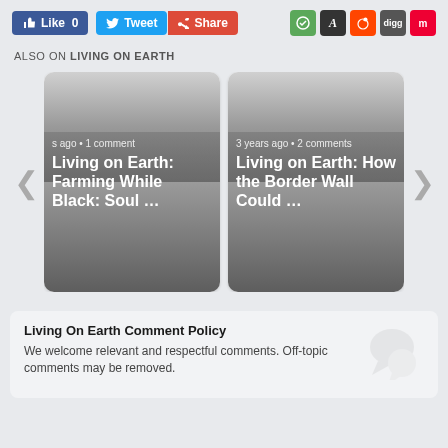[Figure (screenshot): Social sharing buttons: Like 0 (Facebook), Tweet (Twitter), Share (Google+), and icons for other social platforms]
ALSO ON LIVING ON EARTH
[Figure (screenshot): Carousel of article cards: 'Living on Earth: Farming While Black: Soul ...' and 'Living on Earth: How the Border Wall Could ...' with left/right navigation arrows]
Living On Earth Comment Policy
We welcome relevant and respectful comments. Off-topic comments may be removed.